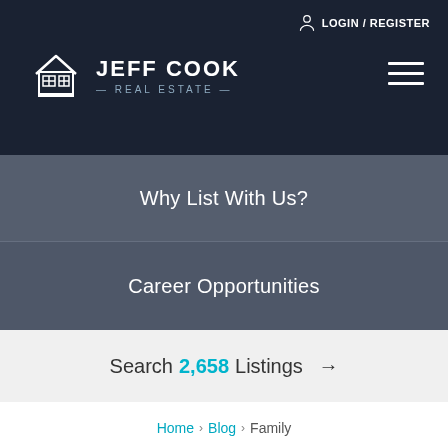LOGIN / REGISTER
[Figure (logo): Jeff Cook Real Estate logo with house icon and text]
Why List With Us?
Career Opportunities
Search 2,658 Listings →
Home > Blog > Family